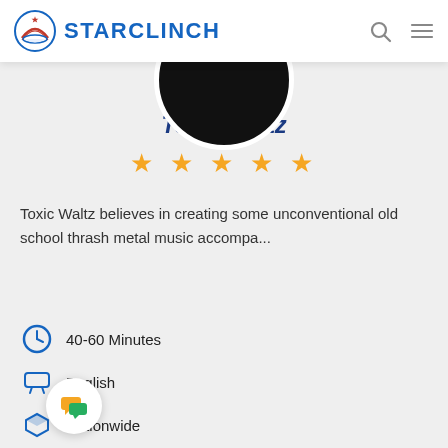STARCLINCH
Toxic Waltz
★★★★★
Toxic Waltz believes in creating some unconventional old school thrash metal music accompa...
40-60 Minutes
English
Nationwide